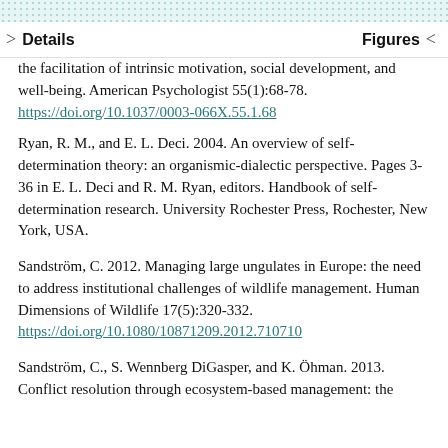> Details    Figures <
the facilitation of intrinsic motivation, social development, and well-being. American Psychologist 55(1):68-78. https://doi.org/10.1037/0003-066X.55.1.68
Ryan, R. M., and E. L. Deci. 2004. An overview of self-determination theory: an organismic-dialectic perspective. Pages 3-36 in E. L. Deci and R. M. Ryan, editors. Handbook of self-determination research. University Rochester Press, Rochester, New York, USA.
Sandström, C. 2012. Managing large ungulates in Europe: the need to address institutional challenges of wildlife management. Human Dimensions of Wildlife 17(5):320-332. https://doi.org/10.1080/10871209.2012.710710
Sandström, C., S. Wennberg DiGasper, and K. Öhman. 2013. Conflict resolution through ecosystem-based management: the